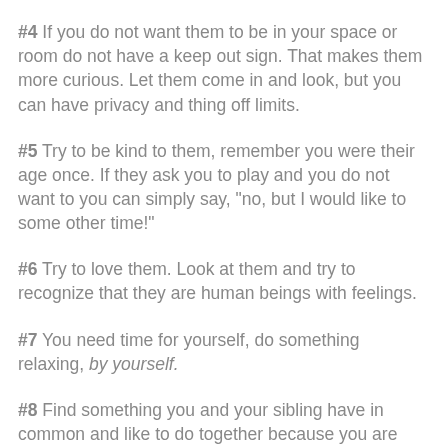#4 If you do not want them to be in your space or room do not have a keep out sign. That makes them more curious. Let them come in and look, but you can have privacy and thing off limits.
#5 Try to be kind to them, remember you were their age once. If they ask you to play and you do not want to you can simply say, "no, but I would like to some other time!"
#6 Try to love them. Look at them and try to recognize that they are human beings with feelings.
#7 You need time for yourself, do something relaxing, by yourself.
#8 Find something you and your sibling have in common and like to do together because you are going to be with them a long time.